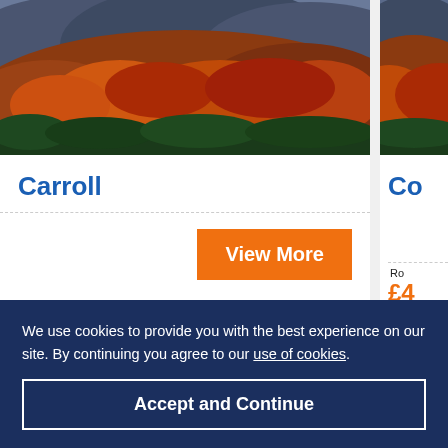[Figure (photo): Aerial photo of autumn mountain landscape with orange and red foliage covering hillsides, with darker green forest below and mountains in background]
Carroll
View More
[Figure (photo): Partial view of a second card with similar autumn landscape photo and title starting with 'Co']
Co
Rooms from
£4
per
We use cookies to provide you with the best experience on our site. By continuing you agree to our use of cookies.
Accept and Continue